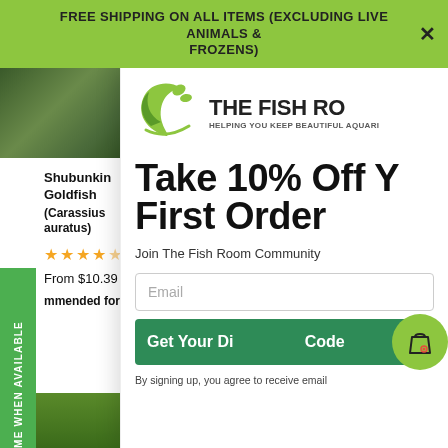FREE SHIPPING ON ALL ITEMS (EXCLUDING LIVE ANIMALS & FROZENS)
[Figure (photo): Product image of Shubunkin Goldfish plant/aquarium background]
Shubunkin Goldfish (Carassius auratus)
1 review
From $10.39
mmended for y
[Figure (logo): The Fish Room logo with green swirl leaf design. Text: THE FISH RO... HELPING YOU KEEP BEAUTIFUL AQUARI...]
Take 10% Off Y First Order
Join The Fish Room Community
Email
Get Your Di... Code...
By signing up, you agree to receive email